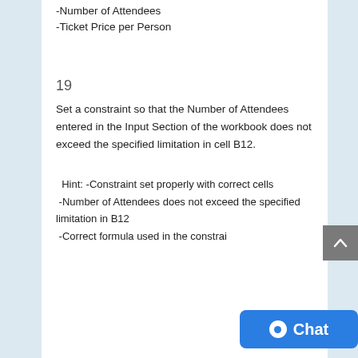-Number of Attendees
-Ticket Price per Person
19
Set a constraint so that the Number of Attendees entered in the Input Section of the workbook does not exceed the specified limitation in cell B12.
Hint: -Constraint set properly with correct cells
-Number of Attendees does not exceed the specified limitation in B12
-Correct formula used in the constrai...